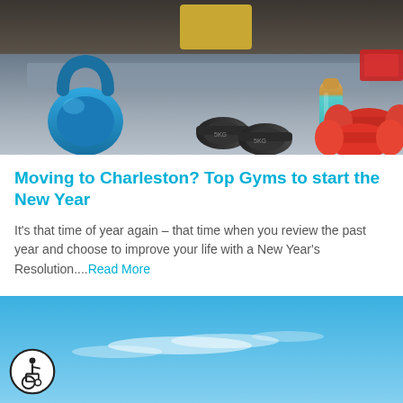[Figure (photo): Gym equipment including a blue kettlebell, black dumbbells, a teal water bottle, red dumbbells, and a red resistance band on a gym floor with a mat in the background.]
Moving to Charleston? Top Gyms to start the New Year
It's that time of year again – that time when you review the past year and choose to improve your life with a New Year's Resolution....Read More
[Figure (photo): Blue sky with some clouds, and an accessibility icon (wheelchair symbol in a circle) in the lower left. Partial view of another image below.]